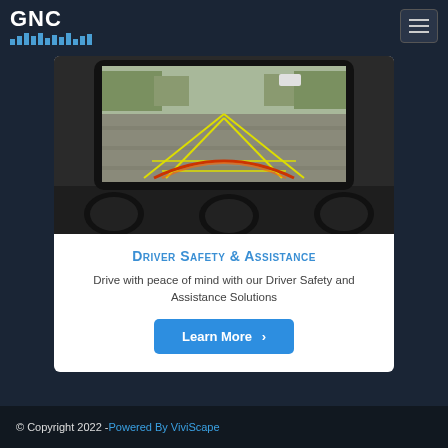[Figure (logo): GNC logo with blue bar chart icon below the text]
[Figure (photo): A backup camera display on a car dashboard screen showing rear view with yellow parking guidelines and an orange/red arc warning line]
Driver Safety & Assistance
Drive with peace of mind with our Driver Safety and Assistance Solutions
Learn More >
© Copyright 2022 - Powered By ViviScape